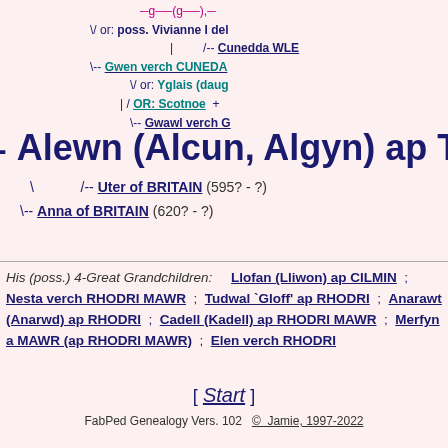\/ or: poss. Vivianne I del...
/-- Cunedda WLE...
\-- Gwen verch CUNEDA...
\/ or: Yglais (daug...
| / OR: Scotnoe  +
\-- Gwawl verch G...
- Alewn (Alcun, Algyn) ap TEGII...
\ /-- Uter of BRITAIN (595? - ?)
\-- Anna of BRITAIN (620? - ?)
His (poss.) 4-Great Grandchildren: Llofan (Lliwon) ap CILMIN ; Nesta verch RHODRI MAWR ; Tudwal `Gloff' ap RHODRI ; Anarawt (Anarwd) ap RHODRI ; Cadell (Kadell) ap RHODRI MAWR ; Merfyn a MAWR (ap RHODRI MAWR) ; Elen verch RHODRI
[ Start ]
FabPed Genealogy Vers. 102  ©  Jamie, 1997-2022